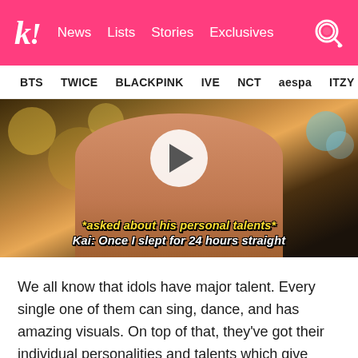k! News Lists Stories Exclusives
BTS  TWICE  BLACKPINK  IVE  NCT  aespa  ITZY
[Figure (screenshot): Video thumbnail showing a person in a beige/tan jacket with bokeh lights in background. A white play button circle is centered. Subtitle text reads: *asked about his personal talents* Kai: Once I slept for 24 hours straight]
We all know that idols have major talent. Every single one of them can sing, dance, and has amazing visuals. On top of that, they've got their individual personalities and talents which give them a special place in our hearts. And to make sure that anyone who visits a group's page